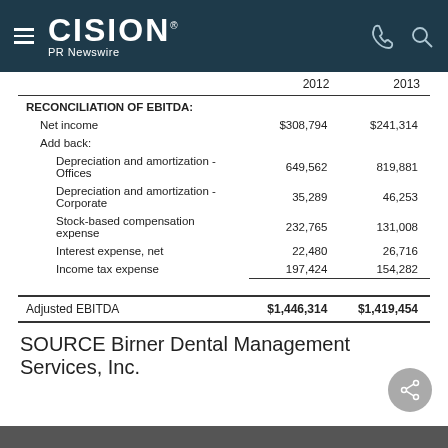CISION PR Newswire
|  | 2012 | 2013 |
| --- | --- | --- |
| RECONCILIATION OF EBITDA: |  |  |
| Net income | $308,794 | $241,314 |
| Add back: |  |  |
| Depreciation and amortization - Offices | 649,562 | 819,881 |
| Depreciation and amortization - Corporate | 35,289 | 46,253 |
| Stock-based compensation expense | 232,765 | 131,008 |
| Interest expense, net | 22,480 | 26,716 |
| Income tax expense | 197,424 | 154,282 |
| Adjusted EBITDA | $1,446,314 | $1,419,454 |
SOURCE Birner Dental Management Services, Inc.